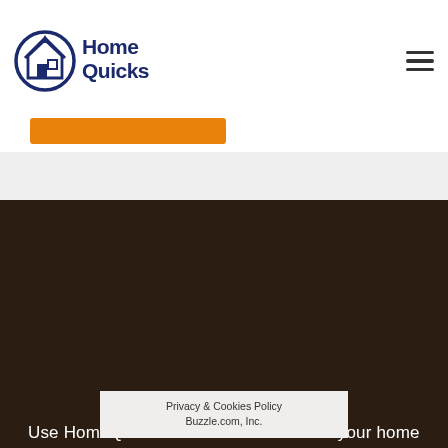[Figure (logo): HomeQuicks logo with house icon and text 'HomeQuicks' in dark navy blue]
[Figure (illustration): Hamburger menu icon (three horizontal bars) in top right corner]
[Figure (illustration): Orange/amber horizontal bar button below logo]
Use HomeQuicks to find the answers to your home improvement questions, or to find a contractor that can help if you get in over your head!
[Figure (illustration): Facebook icon circle (dark brownish-gray background with white 'f')]
[Figure (illustration): RSS feed icon circle (dark brownish-gray background with white RSS symbol)]
Privacy & Cookies Policy
Buzzle.com, Inc.